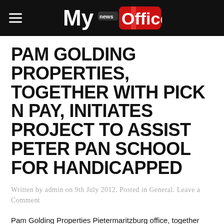My news Office
PAM GOLDING PROPERTIES, TOGETHER WITH PICK N PAY, INITIATES PROJECT TO ASSIST PETER PAN SCHOOL FOR HANDICAPPED
Written by admin on 9th July 2012. Posted in General. Leave a Comment
Pam Golding Properties Pietermaritzburg office, together with Pick n Pay, has raised funds to assist the Peter Pan School for